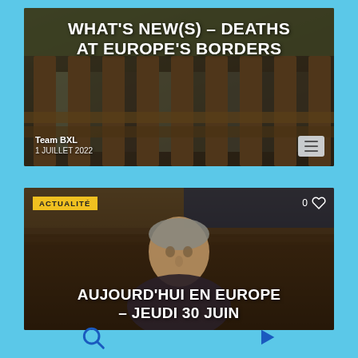[Figure (photo): Card with wooden fence/bars background image overlaid with white bold title text 'WHAT'S NEW(S) – DEATHS AT EUROPE'S BORDERS', with author 'Team BXL' and date '1 JUILLET 2022' at bottom left, and hamburger menu icon at bottom right]
[Figure (photo): Card showing a man's face in a parliamentary setting, labeled 'ACTUALITÉ' in yellow at top left, heart/like icon with '0' at top right, and bold white title 'AUJOURD'HUI EN EUROPE – JEUDI 30 JUIN' at the bottom]